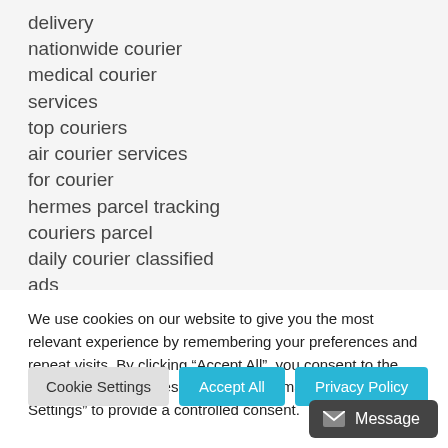delivery
nationwide courier
medical courier services
top couriers
air courier services
for courier
hermes parcel tracking
couriers parcel
daily courier classified ads
We use cookies on our website to give you the most relevant experience by remembering your preferences and repeat visits. By clicking “Accept All”, you consent to the use of ALL the cookies. However, you may visit “Cookie Settings” to provide a controlled consent.